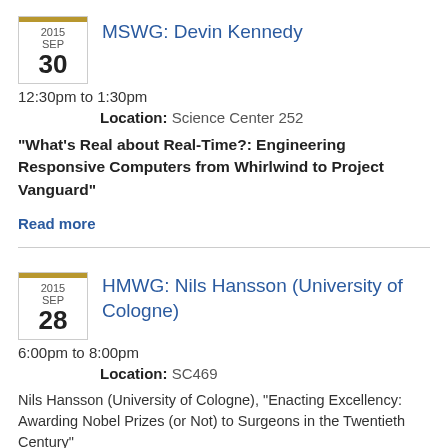MSWG: Devin Kennedy
2015 SEP 30 — 12:30pm to 1:30pm
Location: Science Center 252
"What's Real about Real-Time?: Engineering Responsive Computers from Whirlwind to Project Vanguard"
Read more
HMWG: Nils Hansson (University of Cologne)
2015 SEP 28 — 6:00pm to 8:00pm
Location: SC469
Nils Hansson (University of Cologne), "Enacting Excellency: Awarding Nobel Prizes (or Not) to Surgeons in the Twentieth Century"